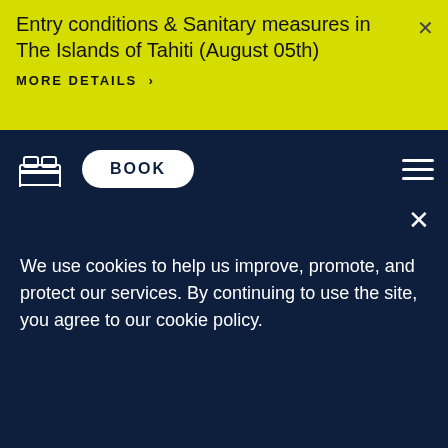Entry conditions & Sanitary measures in The Islands of Tahiti (August 05th)
MORE DETAILS >
BOOK
DINING
THINGS TO DO
TRANSPORTATION IN THE MARQUESAS ISLANDS
ITINERARY
We use cookies to help us improve, promote, and protect our services. By continuing to use the site, you agree to our cookie policy.